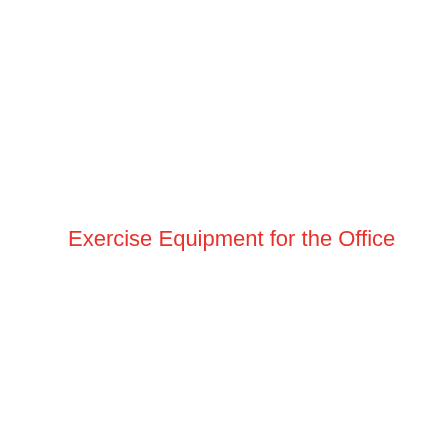Exercise Equipment for the Office